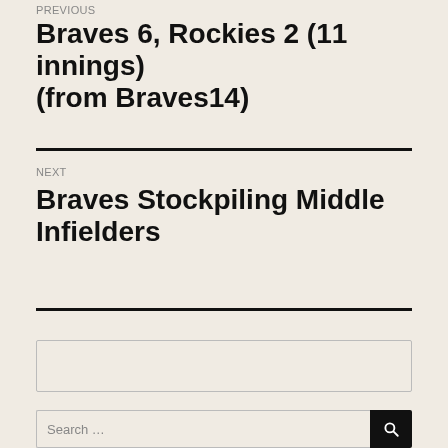PREVIOUS
Braves 6, Rockies 2 (11 innings) (from Braves14)
NEXT
Braves Stockpiling Middle Infielders